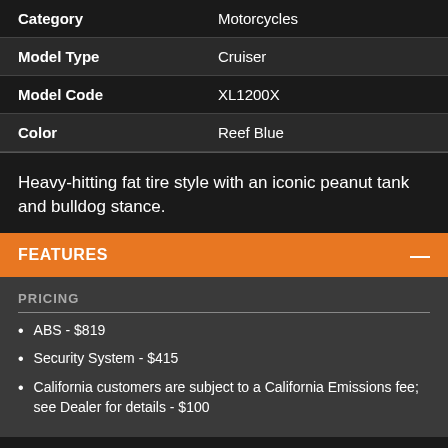| Category | Model Type | Model Code | Color |
| --- | --- | --- | --- |
| Category | Motorcycles |
| Model Type | Cruiser |
| Model Code | XL1200X |
| Color | Reef Blue |
Heavy-hitting fat tire style with an iconic peanut tank and bulldog stance.
FEATURES
PRICING
ABS - $819
Security System - $415
California customers are subject to a California Emissions fee; see Dealer for details - $100